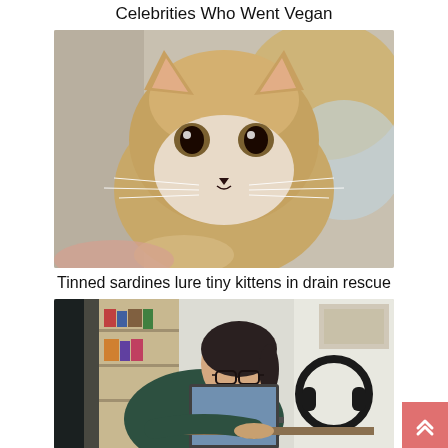Celebrities Who Went Vegan
[Figure (photo): Close-up photo of a small tabby kitten with large brown eyes looking directly at the camera]
Tinned sardines lure tiny kittens in drain rescue
[Figure (photo): Woman with glasses and dark hair in a ponytail, wearing a green hoodie, sitting at a desk working on a laptop with headphones nearby]